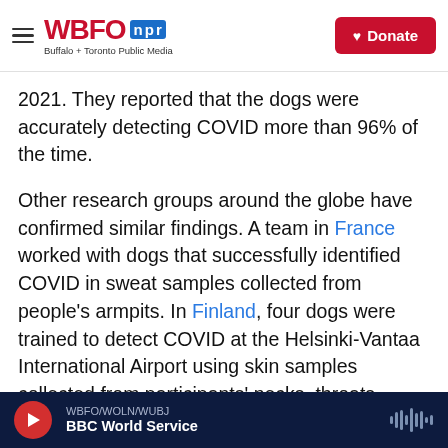WBFO npr — Buffalo + Toronto Public Media | Donate
2021. They reported that the dogs were accurately detecting COVID more than 96% of the time.
Other research groups around the globe have confirmed similar findings. A team in France worked with dogs that successfully identified COVID in sweat samples collected from people's armpits. In Finland, four dogs were trained to detect COVID at the Helsinki-Vantaa International Airport using skin samples collected from participants' necks, throats, foreheads and wrists.
There are benefits to using dogs to detect COVID,
WBFO/WOLN/WUBJ | BBC World Service